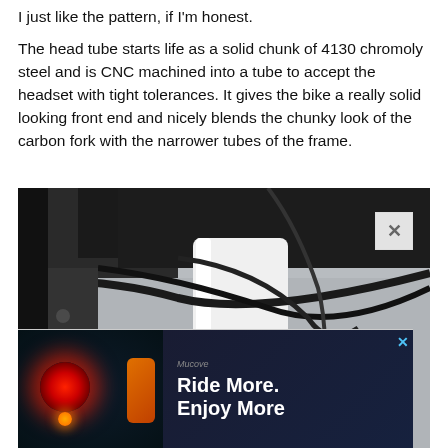I just like the pattern, if I'm honest.
The head tube starts life as a solid chunk of 4130 chromoly steel and is CNC machined into a tube to accept the headset with tight tolerances. It gives the bike a really solid looking front end and nicely blends the chunky look of the carbon fork with the narrower tubes of the frame.
[Figure (photo): Close-up photograph of a bicycle head tube area showing handlebars, brake cables, and a white frame tube with an orange logo. An advertisement overlay appears at the bottom showing a cycling light product with text 'Ride More. Enjoy More'.]